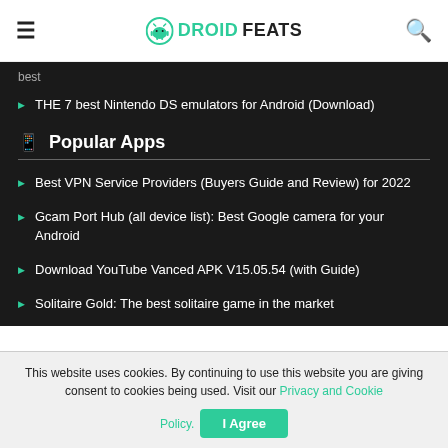DROIDFEATS
best
THE 7 best Nintendo DS emulators for Android (Download)
Popular Apps
Best VPN Service Providers (Buyers Guide and Review) for 2022
Gcam Port Hub (all device list): Best Google camera for your Android
Download YouTube Vanced APK V15.05.54 (with Guide)
Solitaire Gold: The best solitaire game in the market
This website uses cookies. By continuing to use this website you are giving consent to cookies being used. Visit our Privacy and Cookie Policy.